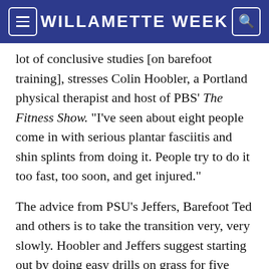WILLAMETTE WEEK
lot of conclusive studies [on barefoot training], stresses Colin Hoobler, a Portland physical therapist and host of PBS' The Fitness Show. "I've seen about eight people come in with serious plantar fasciitis and shin splints from doing it. People try to do it too fast, too soon, and get injured."
The advice from PSU's Jeffers, Barefoot Ted and others is to take the transition very, very slowly. Hoobler and Jeffers suggest starting out by doing easy drills on grass for five minutes two times a week, and increase that by a few minutes each